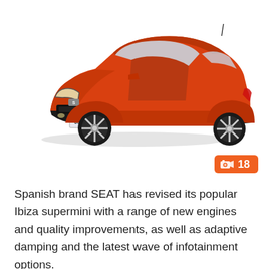[Figure (photo): Orange SEAT Ibiza supermini car shown from a front three-quarter angle on a white background. The car has a Spanish license plate reading '0613 ISC', sporty alloy wheels, and an aggressive front bumper design.]
🖼 18
Spanish brand SEAT has revised its popular Ibiza supermini with a range of new engines and quality improvements, as well as adaptive damping and the latest wave of infotainment options.